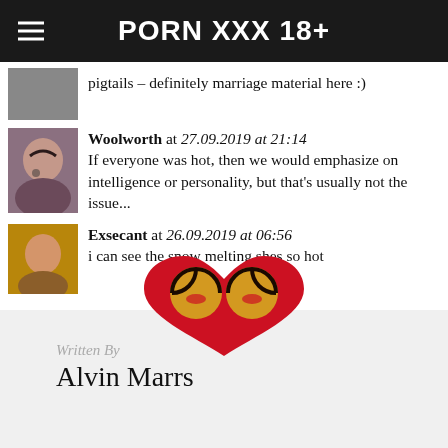PORN XXX 18+
pigtails - definitely marriage material here :)
Woolworth at 27.09.2019 at 21:14
If everyone was hot, then we would emphasize on intelligence or personality, but that's usually not the issue...
Exsecant at 26.09.2019 at 06:56
i can see the snow melting shes so hot
[Figure (logo): Heart-shaped logo with two round shapes forming a heart]
Written By
Alvin Marrs